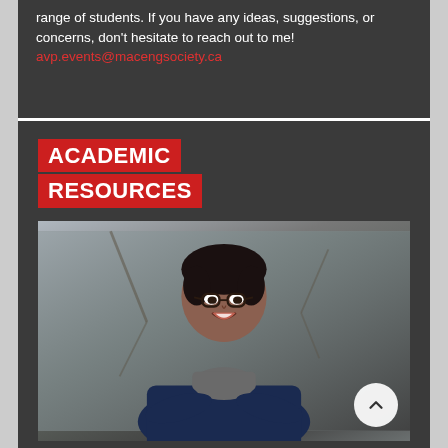range of students. If you have any ideas, suggestions, or concerns, don't hesitate to reach out to me! avp.events@macengsociety.ca
ACADEMIC RESOURCES
[Figure (photo): Professional headshot of Terrel Marshall, a young man with glasses and curly hair wearing a navy blazer and grey turtleneck, smiling with arms crossed, with trees in the background. A circular scroll-up button appears at lower right.]
Hey everyone! I'm your AVP Academic Resources, Terrel Marshall. I'll be responsible for organizing MES Help